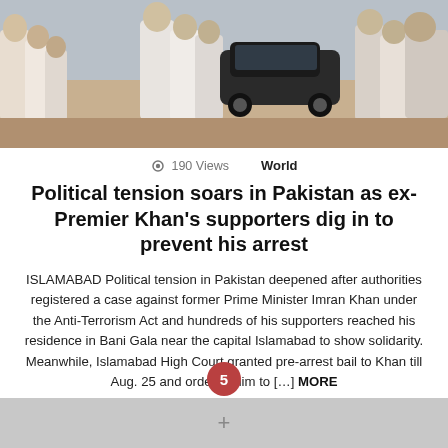[Figure (photo): Crowd of people gathered outside, some in white clothing, a black car visible in the background on a street.]
190 Views   World
Political tension soars in Pakistan as ex-Premier Khan's supporters dig in to prevent his arrest
ISLAMABAD Political tension in Pakistan deepened after authorities registered a case against former Prime Minister Imran Khan under the Anti-Terrorism Act and hundreds of his supporters reached his residence in Bani Gala near the capital Islamabad to show solidarity. Meanwhile, Islamabad High Court granted pre-arrest bail to Khan till Aug. 25 and ordered him to [...] MORE
by Bourbiza Mohamed • 22 August 2022, 11:41
5